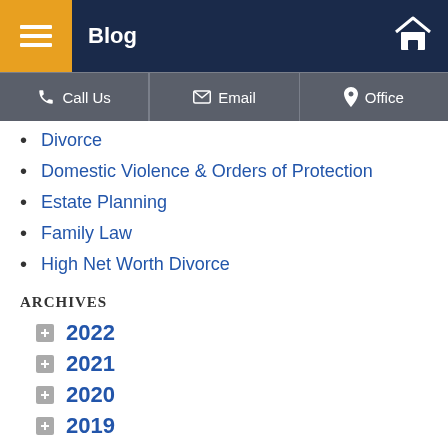Blog
Call Us | Email | Office
Divorce
Domestic Violence & Orders of Protection
Estate Planning
Family Law
High Net Worth Divorce
ARCHIVES
2022
2021
2020
2019
2018